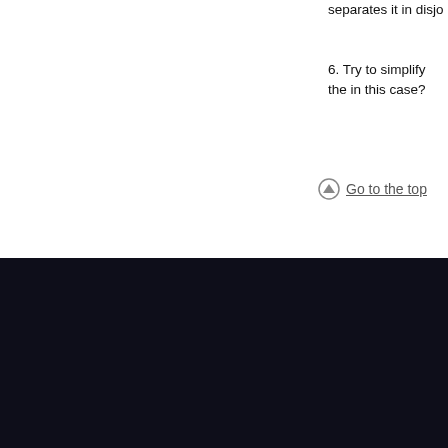separates it in disjo…
6. Try to simplify the… in this case?
Go to the top
TOPOSPRO
Cite this: Cryst. Growth Des. 2014, 14, 7, 3576–3586
© SCTMS   References   Statistics   Compa…